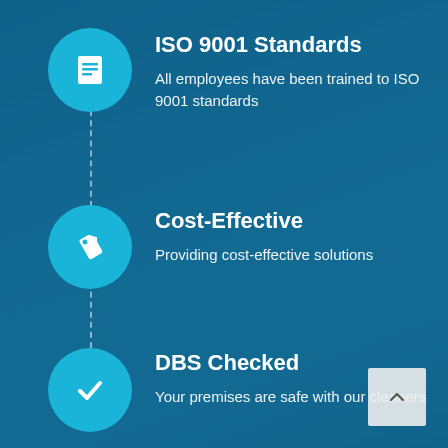[Figure (infographic): Three-item vertical infographic on a blue-tinted room background. Each item has a circle icon on the left connected by a dashed vertical line, with a bold title and description on the right. Items: 1) ISO 9001 Standards - All employees have been trained to ISO 9001 standards. 2) Cost-Effective - Providing cost-effective solutions. 3) DBS Checked - Your premises are safe with our cleaners. A back-to-top arrow button appears bottom right.]